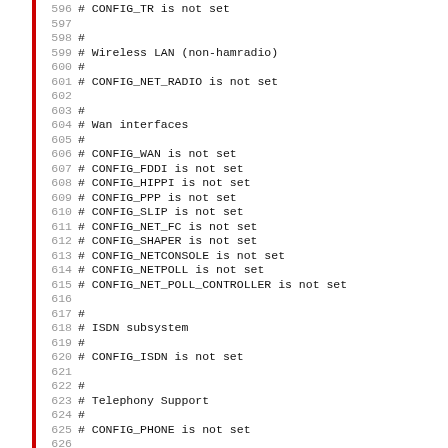596 # CONFIG_TR is not set
597
598 #
599 # Wireless LAN (non-hamradio)
600 #
601 # CONFIG_NET_RADIO is not set
602
603 #
604 # Wan interfaces
605 #
606 # CONFIG_WAN is not set
607 # CONFIG_FDDI is not set
608 # CONFIG_HIPPI is not set
609 # CONFIG_PPP is not set
610 # CONFIG_SLIP is not set
611 # CONFIG_NET_FC is not set
612 # CONFIG_SHAPER is not set
613 # CONFIG_NETCONSOLE is not set
614 # CONFIG_NETPOLL is not set
615 # CONFIG_NET_POLL_CONTROLLER is not set
616
617 #
618 # ISDN subsystem
619 #
620 # CONFIG_ISDN is not set
621
622 #
623 # Telephony Support
624 #
625 # CONFIG_PHONE is not set
626
627 #